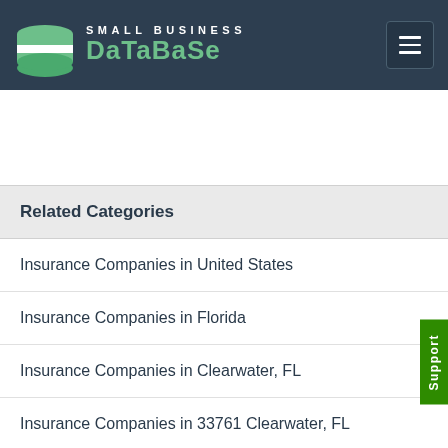SMALL BUSINESS DATABASE
Related Categories
Insurance Companies in United States
Insurance Companies in Florida
Insurance Companies in Clearwater, FL
Insurance Companies in 33761 Clearwater, FL
All businesses in Florida State